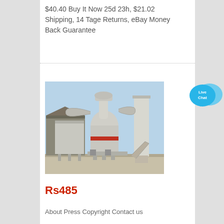$40.40 Buy It Now 25d 23h, $21.02 Shipping, 14 Tage Returns, eBay Money Back Guarantee
[Figure (photo): Industrial grinding/milling machine installation outdoors, showing large industrial equipment with cyclone separators, ducts, and silos on a concrete pad]
Rs485
About Press Copyright Contact us